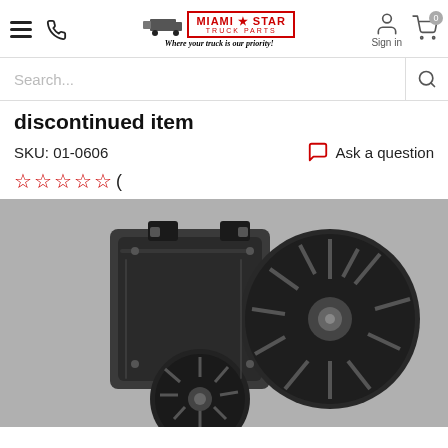Miami Star Truck Parts - Where your truck is our priority!
Search...
discontinued item
SKU: 01-0606
Ask a question
☆☆☆☆☆ (
[Figure (photo): Black blower motor / centrifugal fan assembly product photo, grayscale, showing dual fan wheels and housing bracket.]